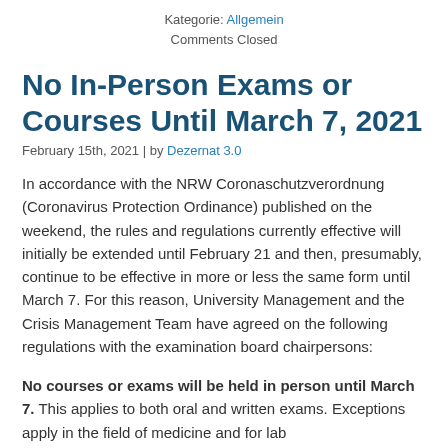Kategorie: Allgemein
Comments Closed
No In-Person Exams or Courses Until March 7, 2021
February 15th, 2021 | by Dezernat 3.0
In accordance with the NRW Coronaschutzverordnung (Coronavirus Protection Ordinance) published on the weekend, the rules and regulations currently effective will initially be extended until February 21 and then, presumably, continue to be effective in more or less the same form until March 7. For this reason, University Management and the Crisis Management Team have agreed on the following regulations with the examination board chairpersons:
No courses or exams will be held in person until March 7. This applies to both oral and written exams. Exceptions apply in the field of medicine and for lab